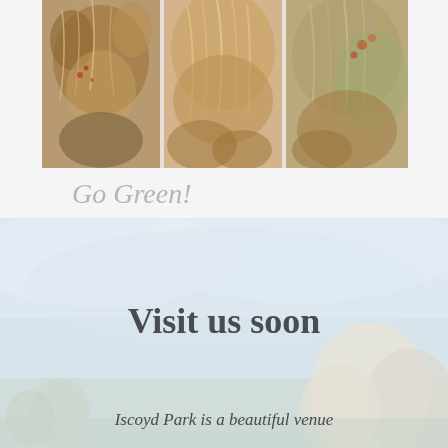[Figure (photo): Three panel photograph of dried floral arrangements including pampas grass, dried flowers and foliage in warm earthy tones]
Go Green!
[Figure (photo): Outdoor venue photograph with a pale blue sky and light-coloured trees in the background, showing Iscoyd Park estate]
Visit us soon
Iscoyd Park is a beautiful venue